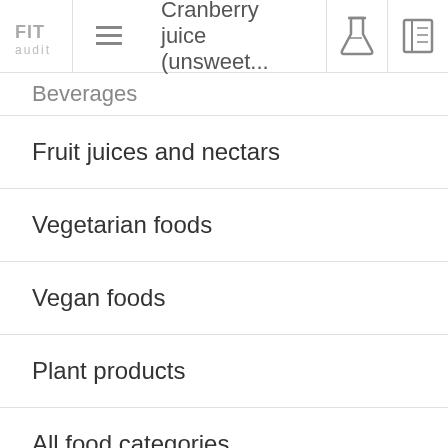FIT audit — Cranberry juice (unsweet...)
Beverages
Fruit juices and nectars
Vegetarian foods
Vegan foods
Plant products
All food categories
Carbohydrates content in related foods
Cranberries
raw